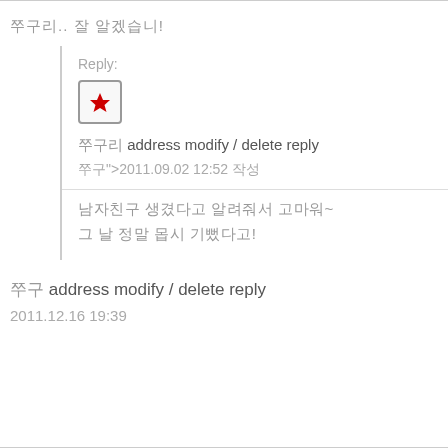쭈구리.. 잘 알겠습니!
Reply:
[Figure (other): Red star icon in a rounded square button]
쭈구리  address modify / delete reply
쭈구">2011.09.02 12:52 작성
남자친구 생겼다고 알려줘서 고마워~
그 날 정말 몹시 기뻤다고!
쭈구 address modify / delete reply
2011.12.16 19:39